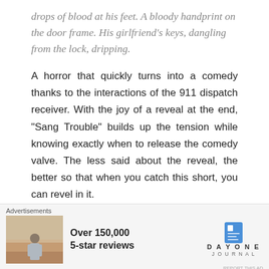drops of blood at his feet. A bloody handprint on the door frame. His girlfriend’s keys, dangling from the lock, dripping.
A horror that quickly turns into a comedy thanks to the interactions of the 911 dispatch receiver. With the joy of a reveal at the end, “Sang Trouble” builds up the tension while knowing exactly when to release the comedy valve. The less said about the reveal, the better so that when you catch this short, you can revel in it.
[Figure (photo): A partial view of a person with blonde hair, seen from behind, against a wall with graffiti-like markings.]
Advertisements
[Figure (photo): Advertisement image showing a person from behind looking at a scenic view.]
Over 150,000
5-star reviews
[Figure (logo): Day One Journal logo with blue book icon and text DAY ONE JOURNAL]